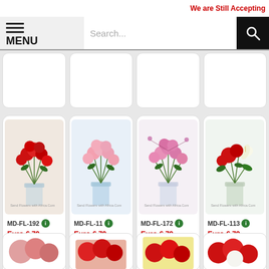We are Still Accepting
MENU
Search...
[Figure (screenshot): Partially visible flower product cards from previous row]
[Figure (photo): Red roses bouquet in vase — MD-FL-192]
MD-FL-192
Euro € 79
ORDER NO
[Figure (photo): Pink roses bouquet in vase — MD-FL-11]
MD-FL-11
Euro € 79
ORDER NO
[Figure (photo): Pink roses bouquet in glass vase — MD-FL-172]
MD-FL-172
Euro € 79
ORDER NO
[Figure (photo): Red roses and white lilies in vase — MD-FL-113]
MD-FL-113
Euro € 79
ORDER NO
[Figure (screenshot): Partially visible bottom row of flower product cards]